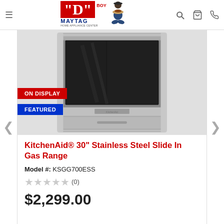D BOY MAYTAG HOME APPLIANCE CENTER
[Figure (photo): KitchenAid stainless steel slide-in gas range product photo with ON DISPLAY and FEATURED badges]
KitchenAid® 30" Stainless Steel Slide In Gas Range
Model #: KSGG700ESS
★★★★★ (0)
$2,299.00